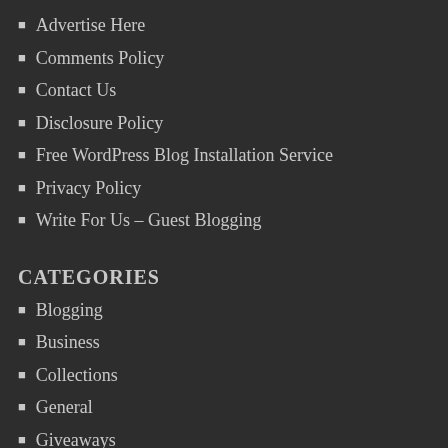Advertise Here
Comments Policy
Contact Us
Disclosure Policy
Free WordPress Blog Installation Service
Privacy Policy
Write For Us – Guest Blogging
CATEGORIES
Blogging
Business
Collections
General
Giveaways